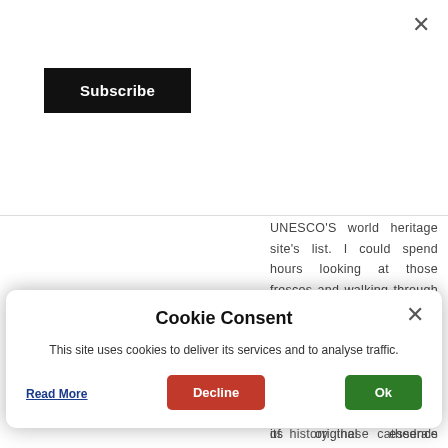[Figure (other): Close (X) button in top-right corner of subscription popup]
[Figure (other): Black Subscribe button in top-left area]
UNESCO'S world heritage site's list. I could spend hours looking at those frescos and walking through the pillared halls and passages admiring the ceiling and the statuettes. Also, its history of getting destroyed and being rebuilt multiple times without losing its original essence completely - it is so fascinating!
of history these cathedrals have. Love how
Cookie Consent
This site uses cookies to deliver its services and to analyse traffic.
Read More
Decline
Ok